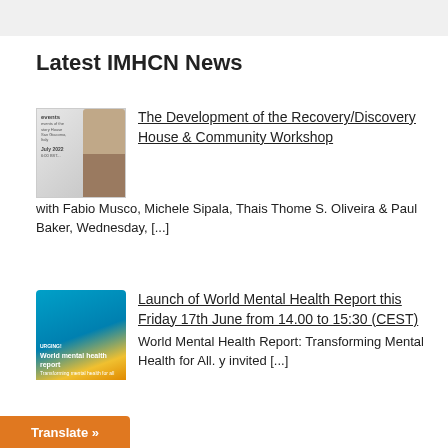Latest IMHCN News
[Figure (photo): Thumbnail image for Recovery/Discovery House event with two face photos and text overlay]
The Development of the Recovery/Discovery House & Community Workshop with Fabio Musco, Michele Sipala, Thais Thome S. Oliveira & Paul Baker, Wednesday, [...]
[Figure (photo): World Mental Health Report book cover thumbnail with blue and yellow design]
Launch of World Mental Health Report this Friday 17th June from 14.00 to 15:30 (CEST) World Mental Health Report: Transforming Mental Health for All. y invited [...]